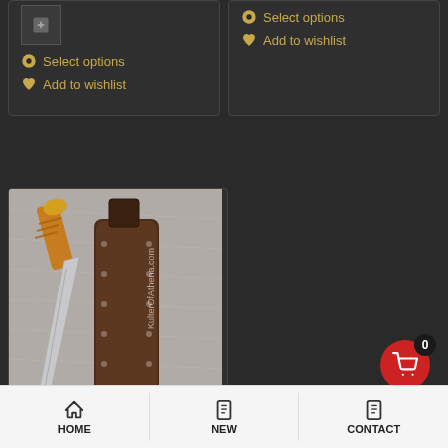[Figure (screenshot): Partial product card top-left with a small image icon placeholder, Select options link, and Add to wishlist link on dark background]
Select options
Add to wishlist
[Figure (screenshot): Partial product card top-right with Add to wishlist link on dark background]
Add to wishlist
[Figure (photo): Balaur Arms knife with wooden handle, a silver blade, and a dark brown leather sheath with rivets, on grey fur background. Watermark: KulterOfAthena.com]
Balaur Arms – Pattern-Welded Militia...
HOME   NEW   CONTACT